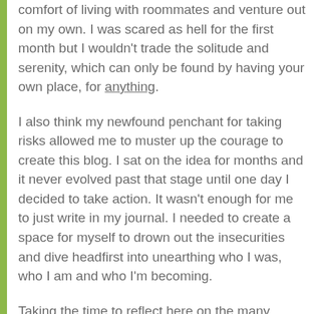comfort of living with roommates and venture out on my own. I was scared as hell for the first month but I wouldn't trade the solitude and serenity, which can only be found by having your own place, for anything.
I also think my newfound penchant for taking risks allowed me to muster up the courage to create this blog. I sat on the idea for months and it never evolved past that stage until one day I decided to take action. It wasn't enough for me to just write in my journal. I needed to create a space for myself to drown out the insecurities and dive headfirst into unearthing who I was, who I am and who I'm becoming.
Taking the time to reflect here on the many